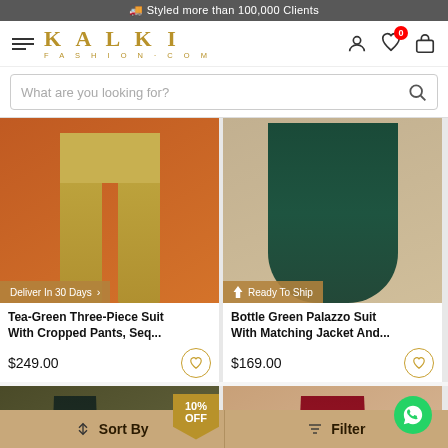Styled more than 100,000 Clients
[Figure (logo): KALKI FASHION.COM logo with hamburger menu on left, and icons (user, wishlist with 0 badge, bag) on right]
What are you looking for?
[Figure (photo): Tea-Green Three-Piece Suit product photo showing cropped pants on orange background, with 'Deliver In 30 Days' badge]
Tea-Green Three-Piece Suit With Cropped Pants, Seq...
$249.00
[Figure (photo): Bottle Green Palazzo Suit product photo on beige background with 'Ready To Ship' badge]
Bottle Green Palazzo Suit With Matching Jacket And...
$169.00
[Figure (photo): Product with 10% OFF badge, model on dark olive background]
[Figure (photo): Red/maroon product photo on beige background with WhatsApp chat bubble icon]
↕ Sort By   Filter